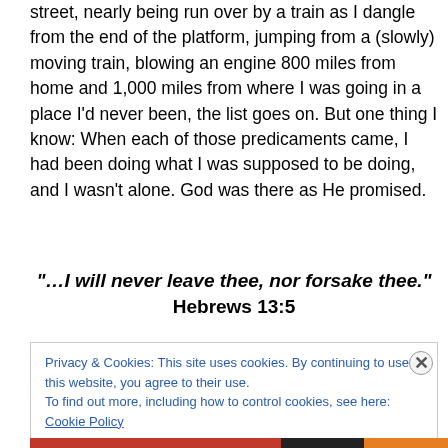street, nearly being run over by a train as I dangle from the end of the platform, jumping from a (slowly) moving train, blowing an engine 800 miles from home and 1,000 miles from where I was going in a place I'd never been, the list goes on. But one thing I know: When each of those predicaments came, I had been doing what I was supposed to be doing, and I wasn't alone. God was there as He promised.
“…I will never leave thee, nor forsake thee.” Hebrews 13:5
Privacy & Cookies: This site uses cookies. By continuing to use this website, you agree to their use.
To find out more, including how to control cookies, see here: Cookie Policy